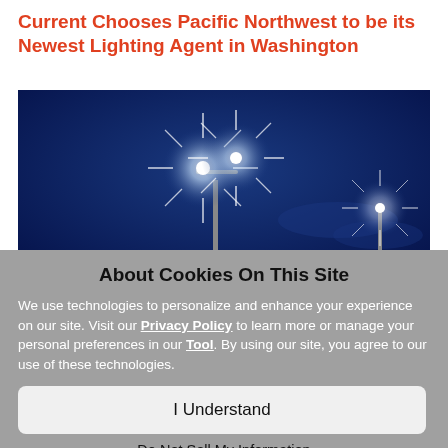Current Chooses Pacific Northwest to be its Newest Lighting Agent in Washington
[Figure (photo): Bright street lights glowing with star-burst effect against a deep blue night sky]
About Cookies On This Site
We use technologies to personalize and enhance your experience on our site. Visit our Privacy Policy to learn more or manage your personal preferences in our Tool. By using our site, you agree to our use of these technologies.
I Understand
Do Not Sell My Information